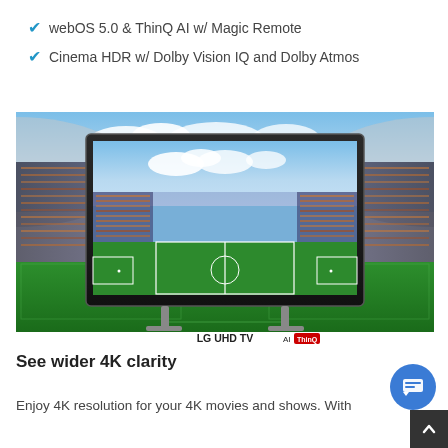webOS 5.0 & ThinQ AI w/ Magic Remote
Cinema HDR w/ Dolby Vision IQ and Dolby Atmos
[Figure (photo): LG UHD TV AI ThinQ displaying a stadium with a football pitch, shown from a wide-angle perspective. The TV is a black flat-screen standing on metal feet. Behind the TV, the same stadium image extends to the edges. Below the TV is the text 'LG UHD TV AI ThinQ'.]
See wider 4K clarity
Enjoy 4K resolution for your 4K movies and shows. With